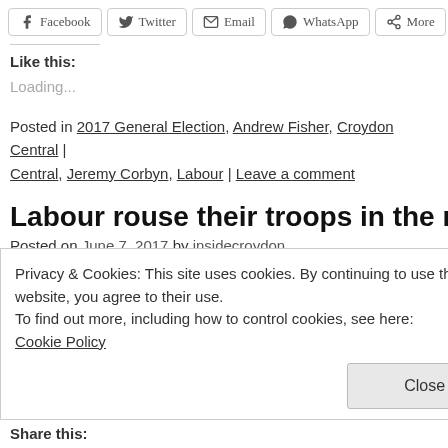[Figure (other): Social share buttons: Facebook, Twitter, Email, WhatsApp, More]
Like this:
Loading...
Posted in 2017 General Election, Andrew Fisher, Croydon Central | Central, Jeremy Corbyn, Labour | Leave a comment
Labour rouse their troops in the rain with
Posted on June 7, 2017 by insidecroydon
Privacy & Cookies: This site uses cookies. By continuing to use this website, you agree to their use. To find out more, including how to control cookies, see here: Cookie Policy
Close and accept
Share this: